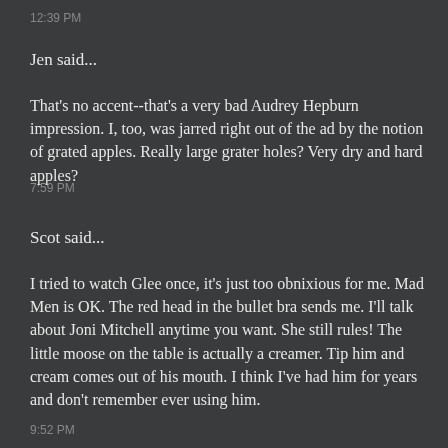12:39 PM
Jen said...
That's no accent--that's a very bad Audrey Hepburn impression. I, too, was jarred right out of the ad by the notion of grated apples. Really large grater holes? Very dry and hard apples?
7:59 PM
Scot said...
I tried to watch Glee once, it's just too obnixious for me. Mad Men is OK. The red head in the bullet bra sends me. I'll talk about Joni Mitchell anytime you want. She still rules! The little moose on the table is actually a creamer. Tip him and cream comes out of his mouth. I think I've had him for years and don't remember ever using him.
9:52 PM